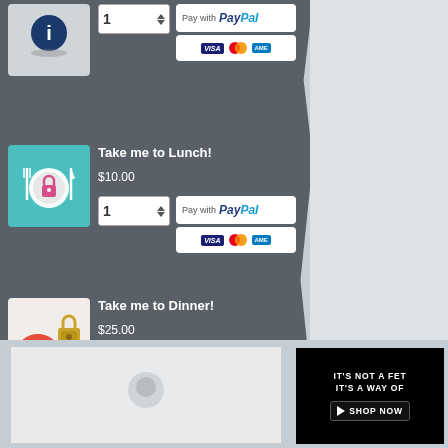[Figure (screenshot): Product listing: Take me to Lunch! $10.00 with quantity selector and PayPal payment button showing Visa, Mastercard, Amex]
Take me to Lunch!
$10.00
[Figure (screenshot): Product listing: Take me to Dinner! $25.00 with quantity selector and PayPal payment button showing Visa, Mastercard, Amex]
Take me to Dinner!
$25.00
[Figure (screenshot): Bottom ad banner: IT'S NOT A FET IT'S A WAY OF with SHOP NOW button]
IT'S NOT A FET
IT'S A WAY OF
SHOP NOW